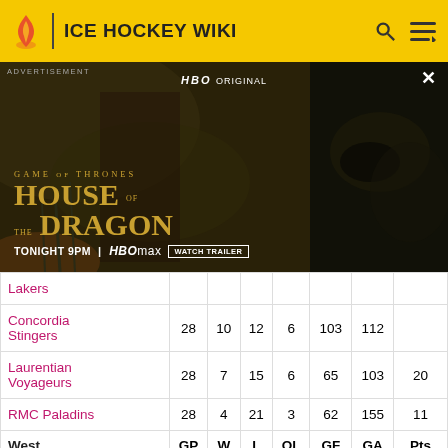ICE HOCKEY WIKI
[Figure (screenshot): HBO Original advertisement for House of the Dragon (Game of Thrones), Tonight 9PM on HBO Max. Features dragon imagery and a character in red. Watch Trailer button shown.]
|  | GP | W | L | OL | GF | GA | Pts |
| --- | --- | --- | --- | --- | --- | --- | --- |
| Lakers |  |  |  |  |  |  |  |
| Concordia Stingers | 28 | 10 | 12 | 6 | 103 | 112 |  |
| Laurentian Voyageurs | 28 | 7 | 15 | 6 | 65 | 103 | 20 |
| RMC Paladins | 28 | 4 | 21 | 3 | 62 | 155 | 11 |
| West | GP | W | L | OL | GF | GA | Pts |
| York Lions | 28 | 16 | 7 | 5 | 84 | 76 | 37 |